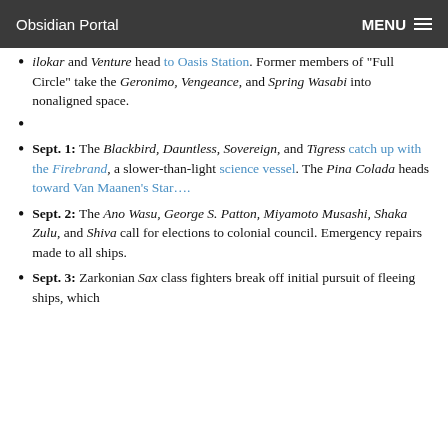Obsidian Portal   MENU
ilokar and Venture head to Oasis Station. Former members of “Full Circle” take the Geronimo, Vengeance, and Spring Wasabi into nonaligned space.
(empty bullet)
Sept. 1: The Blackbird, Dauntless, Sovereign, and Tigress catch up with the Firebrand, a slower-than-light science vessel. The Pina Colada heads toward Van Maanen’s Star….
Sept. 2: The Ano Wasu, George S. Patton, Miyamoto Musashi, Shaka Zulu, and Shiva call for elections to colonial council. Emergency repairs made to all ships.
Sept. 3: Zarkonian Sax class fighters break off initial pursuit of fleeing ships, which